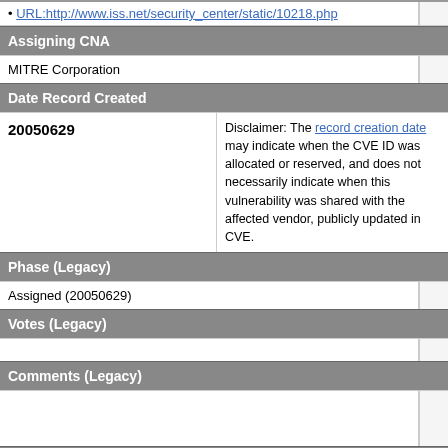URL: http://www.iss.net/security_center/static/10218.php
Assigning CNA
MITRE Corporation
Date Record Created
| Date | Disclaimer |
| --- | --- |
| 20050629 | Disclaimer: The record creation date may indicate when the CVE ID was allocated or reserved, and does not necessarily indicate when this vulnerability was shared with the affected vendor, publicly disclosed, or updated in CVE. |
Phase (Legacy)
Assigned (20050629)
Votes (Legacy)
Comments (Legacy)
Proposed (Legacy)
N/A
This is a record on the CVE List, which provides common identifiers for publicly known cybersecurity vulnerabilities.
SEARCH CVE USING KEYWORDS: